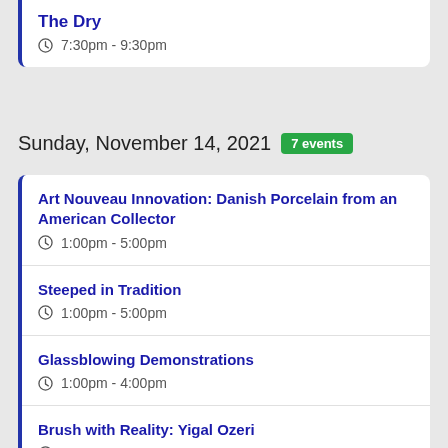The Dry
7:30pm - 9:30pm
Sunday, November 14, 2021  7 events
Art Nouveau Innovation: Danish Porcelain from an American Collector
1:00pm - 5:00pm
Steeped in Tradition
1:00pm - 5:00pm
Glassblowing Demonstrations
1:00pm - 4:00pm
Brush with Reality: Yigal Ozeri
1:00pm - 5:00pm